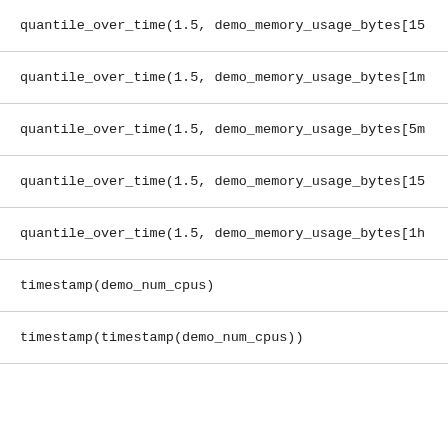quantile_over_time(1.5, demo_memory_usage_bytes[15
quantile_over_time(1.5, demo_memory_usage_bytes[1m
quantile_over_time(1.5, demo_memory_usage_bytes[5m
quantile_over_time(1.5, demo_memory_usage_bytes[15
quantile_over_time(1.5, demo_memory_usage_bytes[1h
timestamp(demo_num_cpus)
timestamp(timestamp(demo_num_cpus))